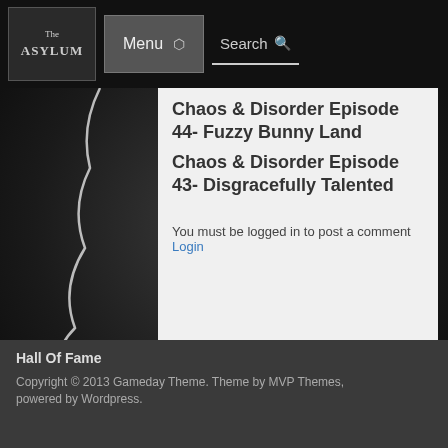[Figure (screenshot): The Asylum website logo with gothic text]
Chaos & Disorder Episode 44- Fuzzy Bunny Land
Chaos & Disorder Episode 43- Disgracefully Talented
You must be logged in to post a comment Login
ABOUT ADMIN
[Figure (photo): Default avatar placeholder image - grey silhouette of a person]
Hall Of Fame
Copyright © 2013 Gameday Theme. Theme by MVP Themes, powered by Wordpress.